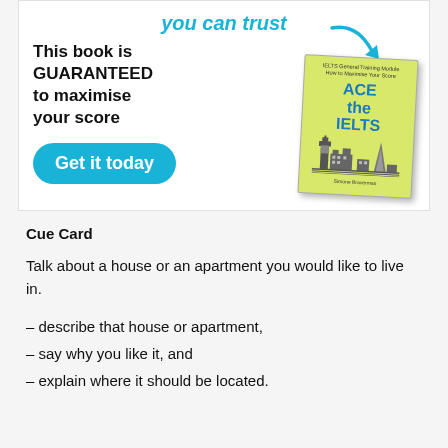[Figure (illustration): Advertisement banner for 'Ace the IELTS' book. Text: 'you can trust' in cyan italic, 'This book is GUARANTEED to maximise your score', cyan arrow pointing to a book cover showing 'ACE the IELTS' with London skyline, and a cyan 'Get it today' button.]
Cue Card
Talk about a house or an apartment you would like to live in.
– describe that house or apartment,
– say why you like it, and
– explain where it should be located.